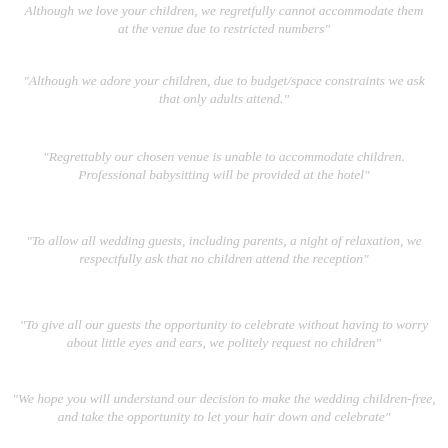"Although we love your children, we regretfully cannot accommodate them at the venue due to restricted numbers"
"Although we adore your children, due to budget/space constraints we ask that only adults attend."
"Regrettably our chosen venue is unable to accommodate children. Professional babysitting will be provided at the hotel"
"To allow all wedding guests, including parents, a night of relaxation, we respectfully ask that no children attend the reception"
"To give all our guests the opportunity to celebrate without having to worry about little eyes and ears, we politely request no children"
"We hope you will understand our decision to make the wedding children-free, and take the opportunity to let your hair down and celebrate"